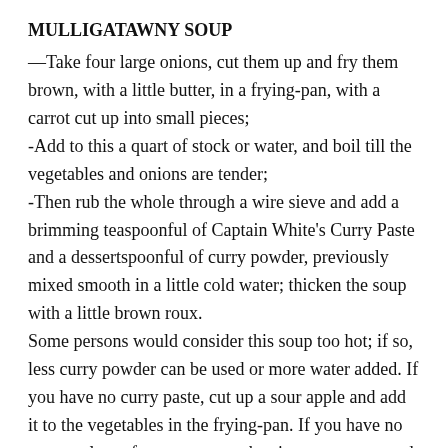MULLIGATAWNY SOUP
—Take four large onions, cut them up and fry them brown, with a little butter, in a frying-pan, with a carrot cut up into small pieces;
-Add to this a quart of stock or water, and boil till the vegetables and onions are tender;
-Then rub the whole through a wire sieve and add a brimming teaspoonful of Captain White's Curry Paste and a dessertspoonful of curry powder, previously mixed smooth in a little cold water; thicken the soup with a little brown roux.
Some persons would consider this soup too hot; if so, less curry powder can be used or more water added. If you have no curry paste, cut up a sour apple and add it to the vegetables in the frying-pan. If you have no sour apples, a few green gooseberries are a very good substitute.